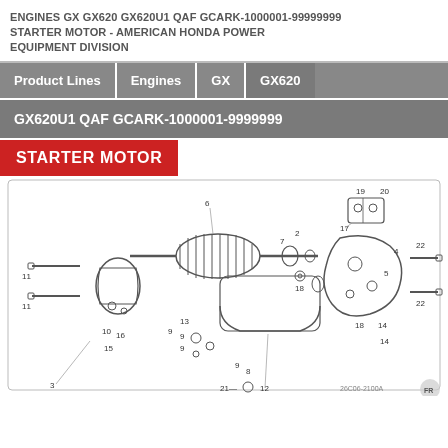ENGINES GX GX620 GX620U1 QAF GCARK-1000001-99999999 STARTER MOTOR - AMERICAN HONDA POWER EQUIPMENT DIVISION
| Product Lines | Engines | GX | GX620 |
| --- | --- | --- | --- |
GX620U1 QAF GCARK-1000001-9999999
STARTER MOTOR
[Figure (engineering-diagram): Exploded view diagram of starter motor components for Honda GX620 engine, showing numbered parts including armature, housing, brushes, and gear assembly. Part numbers 2, 3, 4, 5, 6, 7, 8, 9, 10, 11, 12, 13, 14, 15, 16, 17, 18, 19, 20, 21, 22 are labeled. Diagram reference: 26C06-2100A]